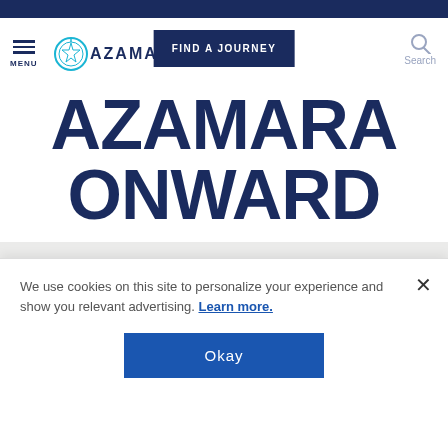[Figure (screenshot): Azamara website screenshot showing navigation bar with hamburger menu, Azamara logo, Find a Journey button, and search icon]
AZAMARA ONWARD
[Figure (illustration): Illustration of cruise ship staff and passengers celebrating, with bellhop, waitstaff, and guests with raised arms]
We use cookies on this site to personalize your experience and show you relevant advertising. Learn more.
Okay